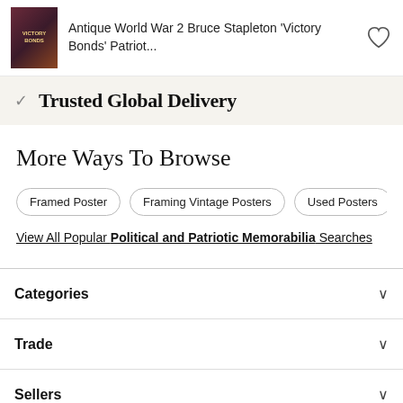Antique World War 2 Bruce Stapleton 'Victory Bonds' Patriot...
✓ Trusted Global Delivery
More Ways To Browse
Framed Poster
Framing Vintage Posters
Used Posters
View All Popular Political and Patriotic Memorabilia Searches
Categories
Trade
Sellers